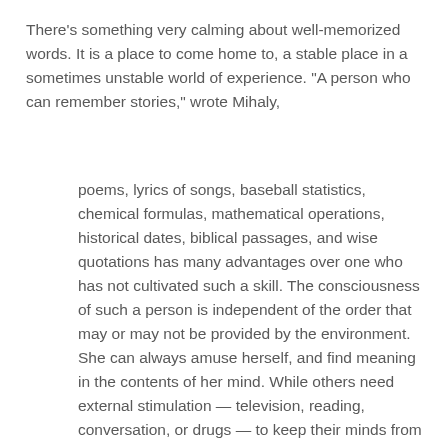There's something very calming about well-memorized words. It is a place to come home to, a stable place in a sometimes unstable world of experience. "A person who can remember stories," wrote Mihaly,
poems, lyrics of songs, baseball statistics, chemical formulas, mathematical operations, historical dates, biblical passages, and wise quotations has many advantages over one who has not cultivated such a skill. The consciousness of such a person is independent of the order that may or may not be provided by the environment. She can always amuse herself, and find meaning in the contents of her mind. While others need external stimulation — television, reading, conversation, or drugs — to keep their minds from drifting into chaos, the person whose memory is stocked with patterns of information is autonomous and self-contained.